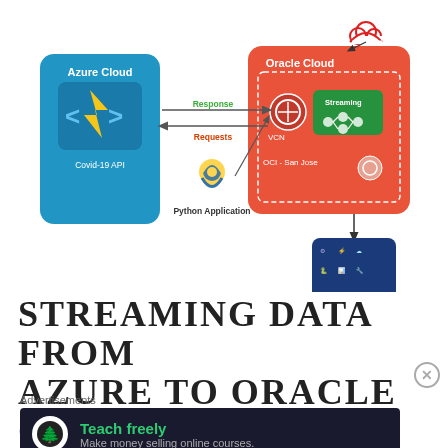[Figure (flowchart): Architecture diagram showing data flow from Azure Cloud (with Azure Functions/Covid-19 API icon) via a Python Application to Oracle Cloud (with Streaming, OCI Kafka icon, VCN, OCI San Jose region), and then down to a Python Consumption Application. Arrows labeled Response and Requests connect Azure to Oracle. A red cloud icon sits above Oracle Cloud.]
STREAMING DATA FROM AZURE TO ORACLE CLOUDS
Advertisements
[Figure (infographic): Advertisement banner: dark background with a tree/person icon circle on the left, green text 'Teach freely', grey subtext 'Make money selling online courses.']